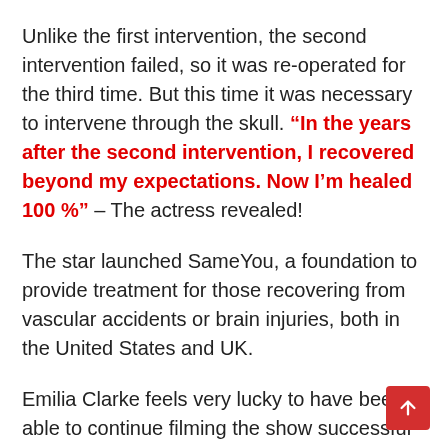Unlike the first intervention, the second intervention failed, so it was re-operated for the third time. But this time it was necessary to intervene through the skull. “In the years after the second intervention, I recovered beyond my expectations. Now I’m healed 100 %” – The actress revealed!
The star launched SameYou, a foundation to provide treatment for those recovering from vascular accidents or brain injuries, both in the United States and UK.
Emilia Clarke feels very lucky to have been able to continue filming the show successful for eig years. She was one step away from losing